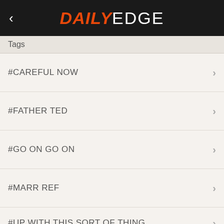DAILY EDGE
Tags
#CAREFUL NOW
#FATHER TED
#GO ON GO ON
#MARR REF
#UP WITH THIS SORT OF THING
This site uses cookies. By continuing to browse, you agree to the use of cookies. You can change your settings or learn more here.